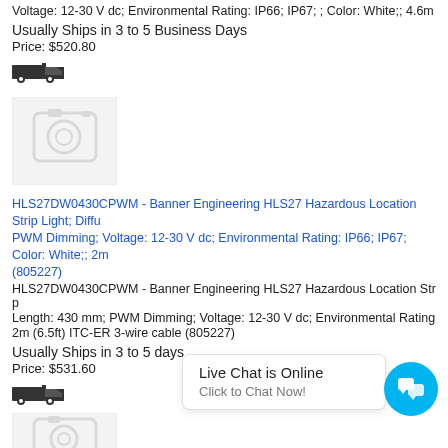Voltage: 12-30 V dc; Environmental Rating: IP66; IP67; ; Color: White;; 4.6m
Usually Ships in 3 to 5 Business Days
Price: $520.80
[Figure (photo): Product image placeholder (camera icon, grey box)]
HLS27DW0430CPWM - Banner Engineering HLS27 Hazardous Location Strip Light; Diffuse; PWM Dimming; Voltage: 12-30 V dc; Environmental Rating: IP66; IP67; Color: White;; 2m (805227)
HLS27DW0430CPWM - Banner Engineering HLS27 Hazardous Location Strip Light; Length: 430 mm; PWM Dimming; Voltage: 12-30 V dc; Environmental Rating: 2m (6.5ft) ITC-ER 3-wire cable (805227)
Usually Ships in 3 to 5 days
Price: $531.60
[Figure (photo): Truck/shipping icon]
Live Chat is Online
Click to Chat Now!
[Figure (photo): Second product image placeholder (camera icon, grey box, partial)]